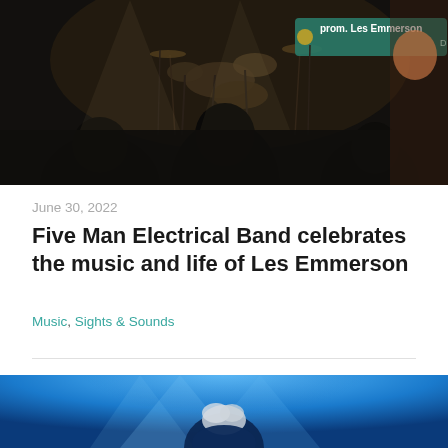[Figure (photo): Concert photo showing a stage with drums and equipment, a sign reading 'prom. Les Emmerson' visible at the top right, dark silhouettes of audience members in the foreground]
June 30, 2022
Five Man Electrical Band celebrates the music and life of Les Emmerson
Music, Sights & Sounds
[Figure (photo): Concert photo with blue stage lighting showing a performer with white/grey hair against a vivid blue background]